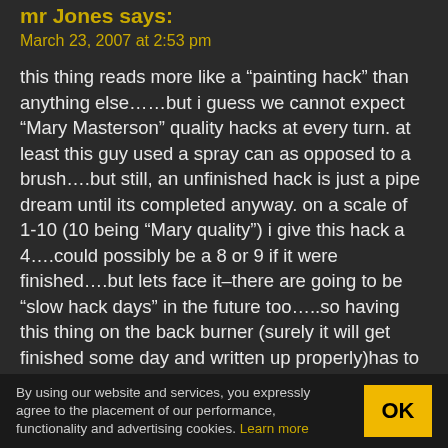mr Jones says:
March 23, 2007 at 2:53 pm
this thing reads more like a “painting hack” than anything else……but i guess we cannot expect “Mary Masterson” quality hacks at every turn. at least this guy used a spray can as opposed to a brush….but still, an unfinished hack is just a pipe dream until its completed anyway. on a scale of 1-10 (10 being “Mary quality”) i give this hack a 4….could possibly be a 8 or 9 if it were finished….but lets face it–there are going to be “slow hack days” in the future too…..so having this thing on the back burner (surely it will get finished some day and written up properly)has to be comforting to HAD. Not that i enjoy it a great deal when HAD repeats itself (i know how to search the HAD website for old hacks past); still i guess its the nature of the
By using our website and services, you expressly agree to the placement of our performance, functionality and advertising cookies. Learn more  OK